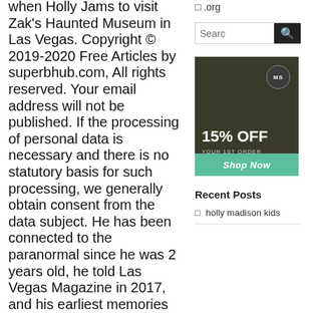when Holly Jams to visit Zak's Haunted Museum in Las Vegas. Copyright © 2019-2020 Free Articles by superbhub.com, All rights reserved. Your email address will not be published. If the processing of personal data is necessary and there is no statutory basis for such processing, we generally obtain consent from the data subject. He has been connected to the paranormal since he was 2 years old, he told Las Vegas Magazine in 2017, and his earliest memories involve spirits and creatures talking to him.
The ex-pair share two children; daughter Rainbow Aurora Rotella and son Emmet (truncated)
□ .org
[Figure (screenshot): Search bar with text input and dark search button icon]
[Figure (photo): Advertisement banner showing 15% OFF YOUR 1ST ORDER with Shop Now button on teal bar, MS badge in top right, dark background with nature image]
Recent Posts
holly madison kids